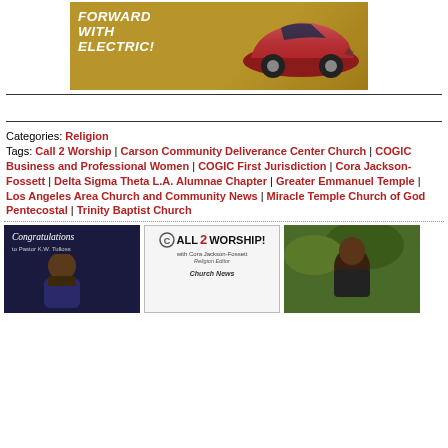[Figure (photo): Advertisement banner with gold background showing a red Chevrolet electric car and text 'FORWARD WITH ELECTRIC!']
Categories: Religion
Tags: Call 2 Worship | Carson Community Deliverance Center Church | COGIC Business and Professional Women | COGIC First Jurisdiction | Cora Jackson-Fossett | Delta Sigma Theta L.A. Alumnae Chapter | Greater Emmanuel Temple | Los Angeles Area Church and Community News | Miracle Temple Church of God Pentecostal | Trinity Baptist Church
[Figure (photo): Thumbnail image: Congratulations to Pastor K.W. Tulloss - dark blue background with man in suit]
[Figure (photo): Thumbnail image: ALL 2 WORSHIP! with Cora Jackson-Fossett, Church News - white card style]
[Figure (photo): Thumbnail image: Person outdoors with green background]